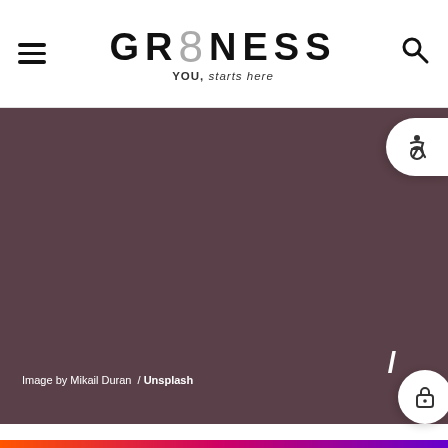GR8NESS — YOU, starts here
[Figure (screenshot): Dark brownish-purple background image area (hero section). Accessibility icon button top right. Lock icon bottom right. Arrow element partially visible bottom right.]
Image by Mikail Duran / Unsplash